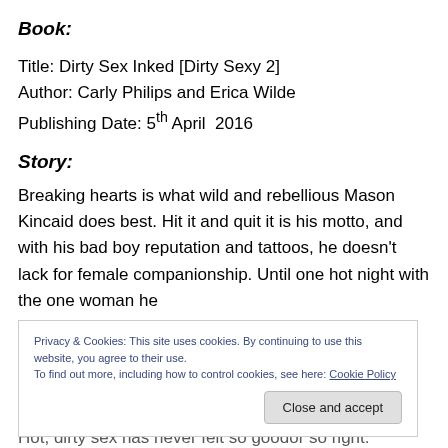Book:
Title: Dirty Sex Inked [Dirty Sexy 2]
Author: Carly Philips and Erica Wilde
Publishing Date: 5th April  2016
Story:
Breaking hearts is what wild and rebellious Mason Kincaid does best. Hit it and quit it is his motto, and with his bad boy reputation and tattoos, he doesn’t lack for female companionship. Until one hot night with the one woman he
Privacy & Cookies: This site uses cookies. By continuing to use this website, you agree to their use.
To find out more, including how to control cookies, see here: Cookie Policy
Hot, dirty sex has never felt so goodor so right.